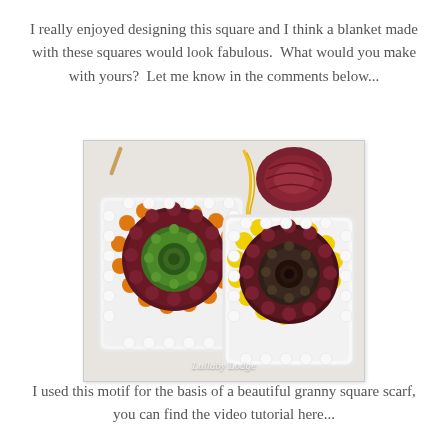I really enjoyed designing this square and I think a blanket made with these squares would look fabulous.  What would you make with yours?  Let me know in the comments below...
[Figure (photo): Two crochet sunflower granny squares on a white surface. Left square has green center, dark red/maroon middle ring, orange outer ring, white border. Right square has dark brown/gray center, dark maroon ring, bright yellow outer ring, white border. A ball of maroon yarn and yellow yarn tails are visible in the background. Watermark reads 'Lullaby Lodge'.]
I used this motif for the basis of a beautiful granny square scarf, you can find the video tutorial here...